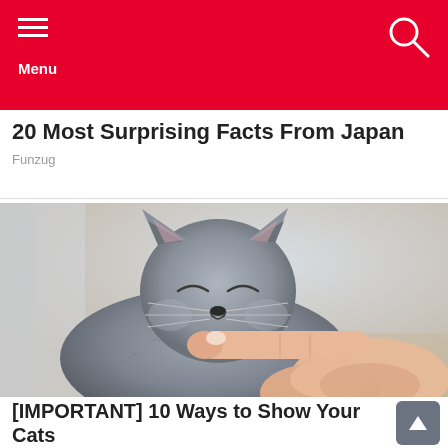Menu
20 Most Surprising Facts From Japan
Funzug
[Figure (photo): A grey British Shorthair cat with eyes closed, appearing content, being gently touched under the chin by a human hand with a pointing finger.]
[IMPORTANT] 10 Ways to Show Your Cats You Love Them